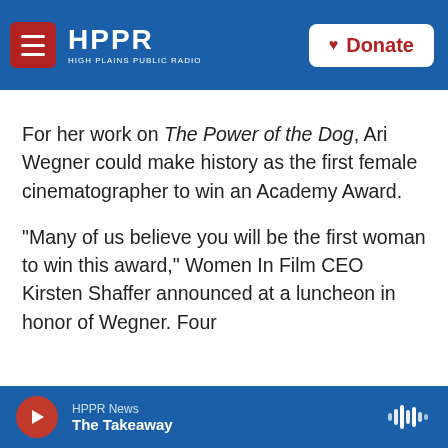HPPR HIGH PLAINS PUBLIC RADIO | Donate
For her work on The Power of the Dog, Ari Wegner could make history as the first female cinematographer to win an Academy Award.
"Many of us believe you will be the first woman to win this award," Women In Film CEO Kirsten Shaffer announced at a luncheon in honor of Wegner. Four
HPPR News | The Takeaway